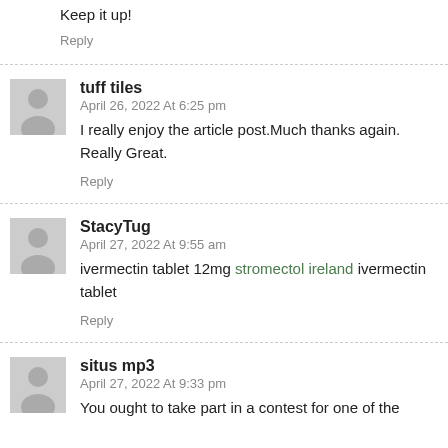Keep it up!
Reply
tuff tiles
April 26, 2022 At 6:25 pm
I really enjoy the article post.Much thanks again. Really Great.
Reply
StacyTug
April 27, 2022 At 9:55 am
ivermectin tablet 12mg stromectol ireland ivermectin tablet
Reply
situs mp3
April 27, 2022 At 9:33 pm
You ought to take part in a contest for one of the